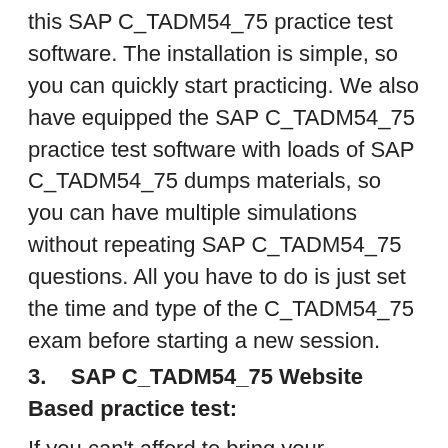this SAP C_TADM54_75 practice test software. The installation is simple, so you can quickly start practicing. We also have equipped the SAP C_TADM54_75 practice test software with loads of SAP C_TADM54_75 dumps materials, so you can have multiple simulations without repeating SAP C_TADM54_75 questions. All you have to do is just set the time and type of the C_TADM54_75 exam before starting a new session.
3.    SAP C_TADM54_75 Website Based practice test:
If you can't afford to bring your computer anywhere and installation seems too much of a hassle, you can rely on the SAP C_TADM54_75 web-based practice test. It is the same simulation with all the same features and benefits. But instead of the hard drive memory, the data used for this SAP C_TADM54_75 web-based practice test is saved on the internet. All